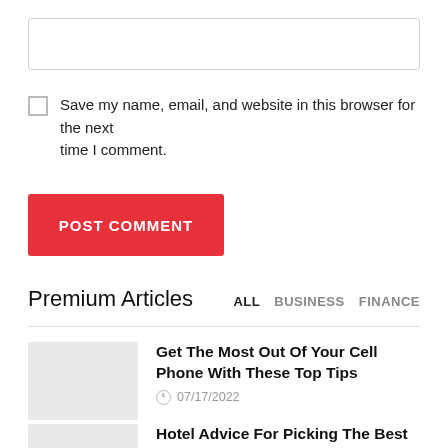[Figure (screenshot): Empty text input field with light gray border]
Save my name, email, and website in this browser for the next time I comment.
POST COMMENT
Premium Articles
ALL  BUSINESS  FINANCE
Get The Most Out Of Your Cell Phone With These Top Tips
07/17/2022
Hotel Advice For Picking The Best Place To Stay
07/17/2022